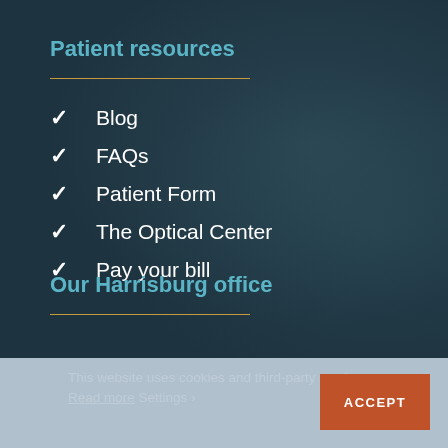Patient resources
Blog
FAQs
Patient Form
The Optical Center
Pay your bill
Our Harrisburg office
This website uses cookies and third-party services. Read more Settings ›
ACCEPT